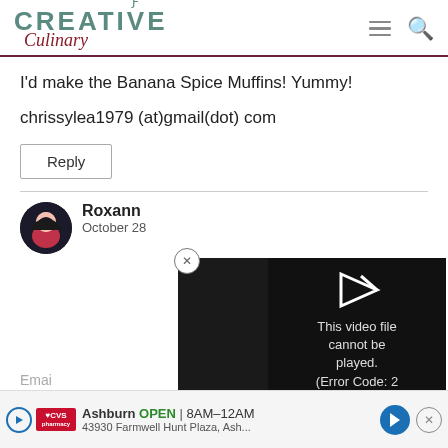[Figure (logo): Creative Culinary website logo with teal/dark green CREATIVE text and red italic Culinary script below]
I'd make the Banana Spice Muffins! Yummy!
chrissylea1979 (at)gmail(dot) com
Reply
Roxann
October 28
[Figure (screenshot): Video player error overlay showing play icon and message: This video file cannot be played. (Error Code: 2 24003)]
[Figure (screenshot): CVS Pharmacy advertisement banner: Ashburn OPEN 8AM-12AM, 43930 Farmwell Hunt Plaza, Ash...]